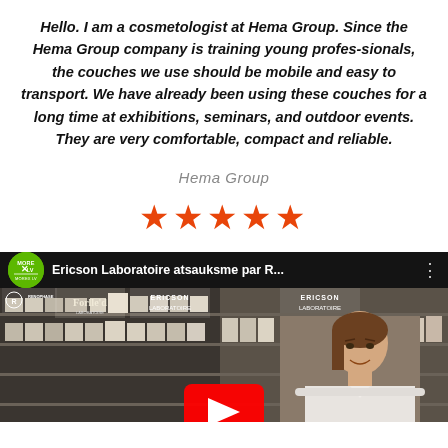Hello. I am a cosmetologist at Hema Group. Since the Hema Group company is training young profes-sionals, the couches we use should be mobile and easy to transport. We have already been using these couches for a long time at exhibitions, seminars, and outdoor events. They are very comfortable, compact and reliable.
Hema Group
[Figure (other): Five red/orange star rating icons]
[Figure (screenshot): Video thumbnail screenshot showing 'Ericson Laboratoire atsauksme par R...' with a green MOREX LV logo circle, a woman in white coat in front of cosmetics shelves with Renophase, Forlle'd, Ericson Laboratoire branding, and a red YouTube play button at the bottom center.]